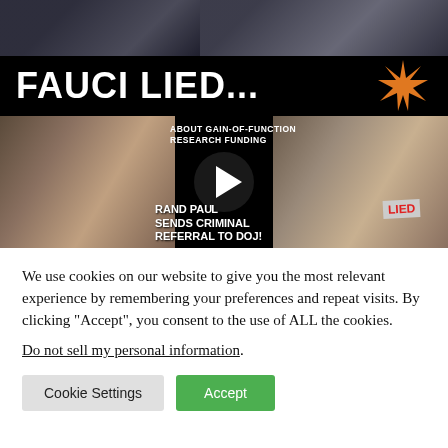[Figure (screenshot): Video thumbnail showing 'FAUCI LIED...' headline with Rand Paul and Fauci faces, text about gain-of-function research funding, and 'RAND PAUL SENDS CRIMINAL REFERRAL TO DOJ!' with a play button in the center. Orange starburst graphic top right. 'LIED' sign on Fauci.]
We use cookies on our website to give you the most relevant experience by remembering your preferences and repeat visits. By clicking “Accept”, you consent to the use of ALL the cookies.
Do not sell my personal information.
Cookie Settings
Accept